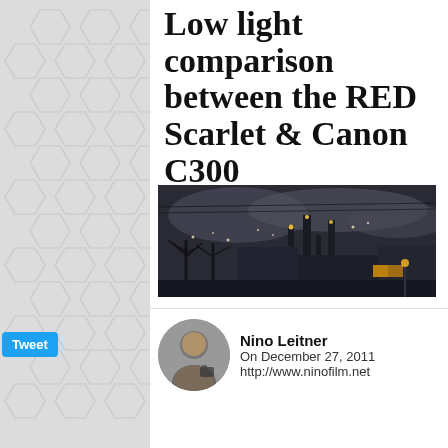Low light comparison between the RED Scarlet & Canon C300
[Figure (photo): Night photo of an industrial facility with lights and bare trees in the foreground, taken in low light conditions.]
Nino Leitner
On December 27, 2011
http://www.ninofilm.net